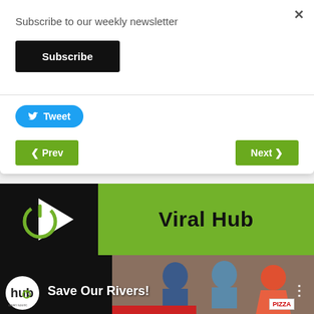Subscribe to our weekly newsletter
Subscribe
Tweet
< Prev
Next >
[Figure (logo): Viral Hub logo banner with play button icon on black background and green panel with 'Viral Hub' text]
[Figure (screenshot): Video thumbnail row showing 'Save Our Rivers!' title with hub logo and lego figures, pizza label visible]